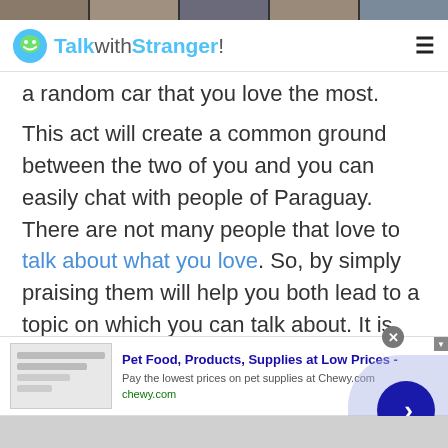[Figure (screenshot): Top strip with thumbnail images of people]
TalkwithStranger!
a random car that you love the most.
This act will create a common ground between the two of you and you can easily chat with people of Paraguay. There are not many people that love to talk about what you love. So, by simply praising them will help you both lead to a topic on which you can talk about. It is not necessary for you to be an auto geek for it. Just by sharing information and a good chat with people of Paraguay about this common topic will help people to get attracted towards you. Hence, increase your attraction
[Figure (screenshot): Advertisement banner: Pet Food, Products, Supplies at Low Prices - chewy.com]